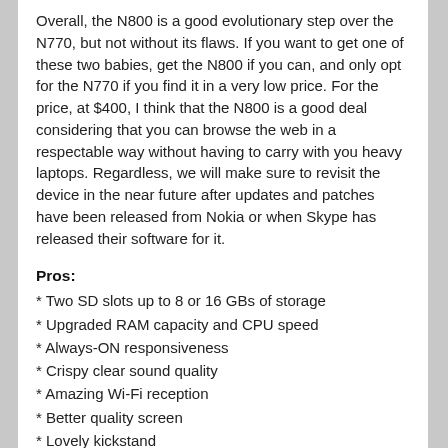Overall, the N800 is a good evolutionary step over the N770, but not without its flaws. If you want to get one of these two babies, get the N800 if you can, and only opt for the N770 if you find it in a very low price. For the price, at $400, I think that the N800 is a good deal considering that you can browse the web in a respectable way without having to carry with you heavy laptops. Regardless, we will make sure to revisit the device in the near future after updates and patches have been released from Nokia or when Skype has released their software for it.
Pros:
* Two SD slots up to 8 or 16 GBs of storage
* Upgraded RAM capacity and CPU speed
* Always-ON responsiveness
* Crispy clear sound quality
* Amazing Wi-Fi reception
* Better quality screen
* Lovely kickstand
* Good battery life
* Cute software